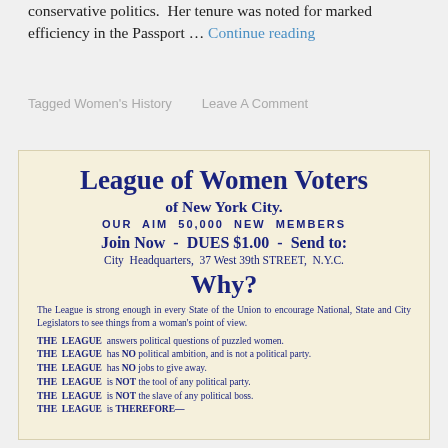conservative politics.  Her tenure was noted for marked efficiency in the Passport … Continue reading
Tagged Women's History     Leave A Comment
[Figure (other): Historical flyer for League of Women Voters of New York City. Cream/beige background with dark blue text. Contains title 'League of Women Voters of New York City.', 'OUR AIM 50,000 NEW MEMBERS', 'Join Now - DUES $1.00 - Send to:', 'City Headquarters, 37 West 39th STREET, N.Y.C.', 'Why?', body text about the League's purpose, and bulleted statements about THE LEAGUE.]